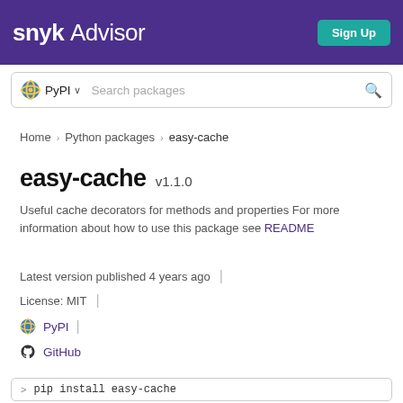Snyk Advisor — Sign Up
[Figure (screenshot): Snyk Advisor header bar with logo and Sign Up button, plus PyPI package search bar]
Home > Python packages > easy-cache
easy-cache v1.1.0
Useful cache decorators for methods and properties For more information about how to use this package see README
Latest version published 4 years ago
License: MIT
PyPI
GitHub
pip install easy-cache